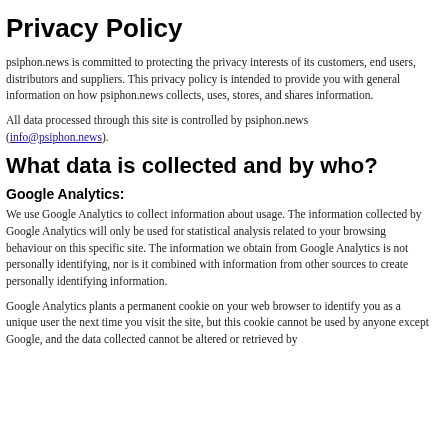Privacy Policy
psiphon.news is committed to protecting the privacy interests of its customers, end users, distributors and suppliers. This privacy policy is intended to provide you with general information on how psiphon.news collects, uses, stores, and shares information.
All data processed through this site is controlled by psiphon.news (info@psiphon.news).
What data is collected and by who?
Google Analytics:
We use Google Analytics to collect information about usage. The information collected by Google Analytics will only be used for statistical analysis related to your browsing behaviour on this specific site. The information we obtain from Google Analytics is not personally identifying, nor is it combined with information from other sources to create personally identifying information.
Google Analytics plants a permanent cookie on your web browser to identify you as a unique user the next time you visit the site, but this cookie cannot be used by anyone except Google, and the data collected cannot be altered or retrieved by